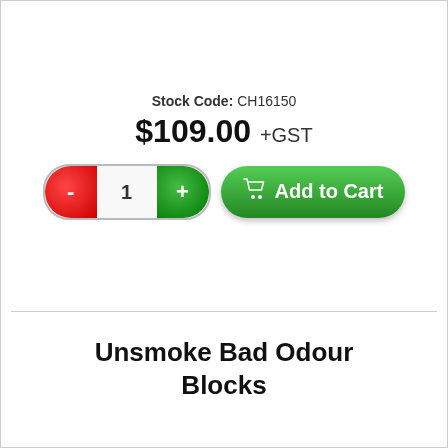Stock Code: CH16150
$109.00 +GST
[Figure (other): Quantity selector pill with red minus button, white input showing '1', and green plus button; alongside a green 'Add to Cart' button with shopping cart icon]
Unsmoke Bad Odour Blocks